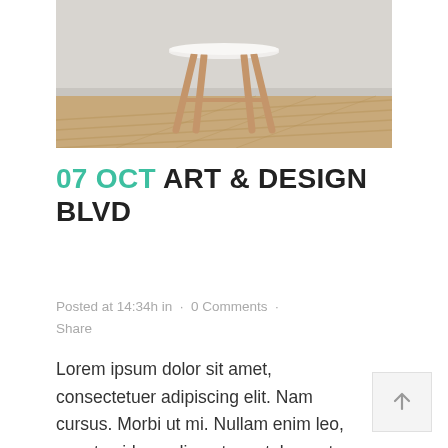[Figure (photo): A modern white chair with wooden legs on a light wood parquet floor against a white wall]
07 OCT ART & DESIGN BLVD
Posted at 14:34h in · 0 Comments · Share
Lorem ipsum dolor sit amet, consectetuer adipiscing elit. Nam cursus. Morbi ut mi. Nullam enim leo, egestas id, condimentum at, laoreet mattis, massa....